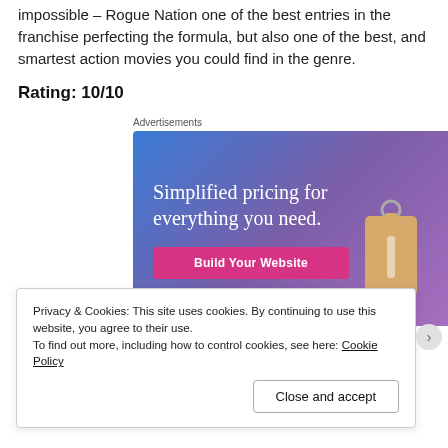impossible – Rogue Nation one of the best entries in the franchise perfecting the formula, but also one of the best, and smartest action movies you could find in the genre.
Rating: 10/10
[Figure (other): Advertisement banner for a website builder: 'Simplified pricing for everything you need.' with a 'Build Your Website' button and a price tag graphic. Blue-to-purple gradient background.]
Privacy & Cookies: This site uses cookies. By continuing to use this website, you agree to their use.
To find out more, including how to control cookies, see here: Cookie Policy
Close and accept